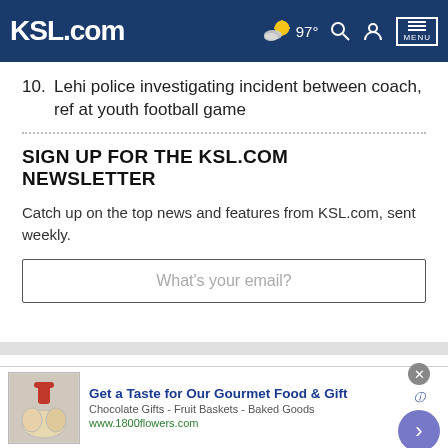KSL.com  97°  [search] [account] MENU
10. Lehi police investigating incident between coach, ref at youth football game
SIGN UP FOR THE KSL.COM NEWSLETTER
Catch up on the top news and features from KSL.com, sent weekly.
What's your email?
Cookie Notice
We use cookies to improve your experience, analyze site traffic, and to personalize content and ads. By continuing to use our site, you consent to our use of cookies. Please visit our Terms of Use and  Privacy Policy for more information
Get a Taste for Our Gourmet Food & Gift
Chocolate Gifts - Fruit Baskets - Baked Goods
www.1800flowers.com